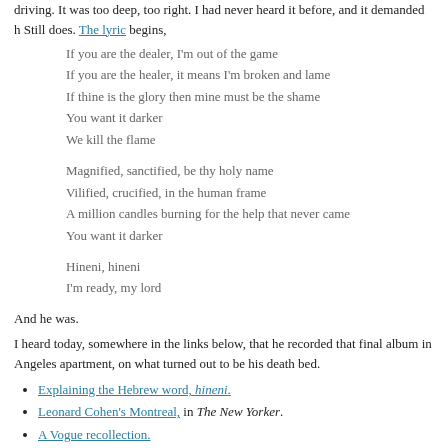driving. It was too deep, too right. I had never heard it before, and it demanded h Still does. The lyric begins,
If you are the dealer, I'm out of the game
If you are the healer, it means I'm broken and lame
If thine is the glory then mine must be the shame
You want it darker
We kill the flame

Magnified, sanctified, be thy holy name
Vilified, crucified, in the human frame
A million candles burning for the help that never came
You want it darker

Hineni, hineni
I'm ready, my lord
And he was.
I heard today, somewhere in the links below, that he recorded that final album in Angeles apartment, on what turned out to be his death bed.
Explaining the Hebrew word, hineni.
Leonard Cohen's Montreal, in The New Yorker.
A Vogue recollection.
The Hindu's.
Rolling Stone's.